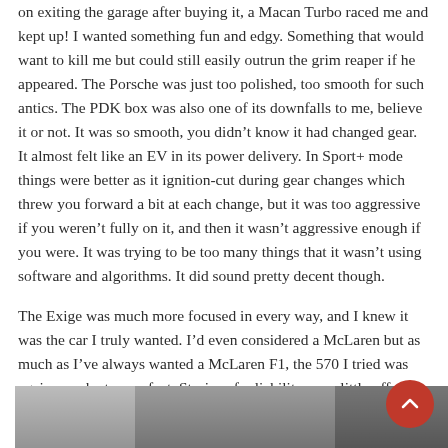on exiting the garage after buying it, a Macan Turbo raced me and kept up! I wanted something fun and edgy. Something that would want to kill me but could still easily outrun the grim reaper if he appeared. The Porsche was just too polished, too smooth for such antics. The PDK box was also one of its downfalls to me, believe it or not. It was so smooth, you didn't know it had changed gear. It almost felt like an EV in its power delivery. In Sport+ mode things were better as it ignition-cut during gear changes which threw you forward a bit at each change, but it was too aggressive if you weren't fully on it, and then it wasn't aggressive enough if you were. It was trying to be too many things that it wasn't using software and algorithms. It did sound pretty decent though.
The Exige was much more focused in every way, and I knew it was the car I truly wanted. I'd even considered a McLaren but as much as I've always wanted a McLaren F1, the 570 I tried was again, maybe too perfect. Stories of reliability are a little off-putting as well considering the nearest dealer is an hour from me.
[Figure (photo): Partial view of a car photograph, showing a dark/grey automotive image strip at the bottom of the page with a red back-to-top button overlaid in the bottom right.]